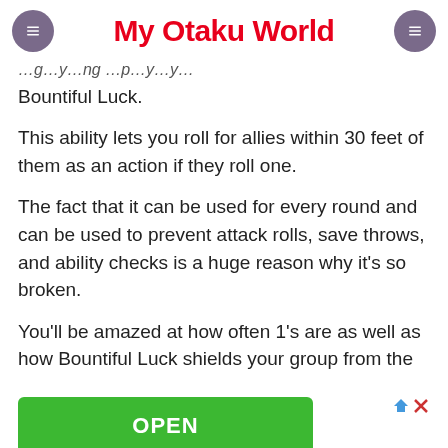My Otaku World
Bountiful Luck.
This ability lets you roll for allies within 30 feet of them as an action if they roll one.
The fact that it can be used for every round and can be used to prevent attack rolls, save throws, and ability checks is a huge reason why it's so broken.
You'll be amazed at how often 1's are as well as how Bountiful Luck shields your group from the
[Figure (screenshot): Advertisement banner with green OPEN button and Book A Demo Today text]